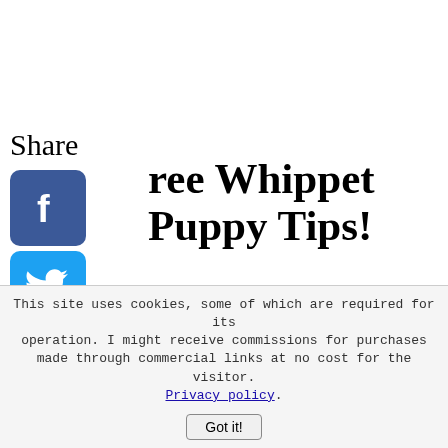Share
[Figure (illustration): Social media share buttons: Facebook (blue), Twitter (light blue), Pinterest (red), Tumblr (dark blue), Reddit (orange), WhatsApp (green)]
ree Whippet Puppy Tips!
re you planning to get a whippet py? Have you just got one? Start on the right foot with these tips!
scribe in the box below  and get the
This site uses cookies, some of which are required for its operation. I might receive commissions for purchases made through commercial links at no cost for the visitor. Privacy policy. Got it!